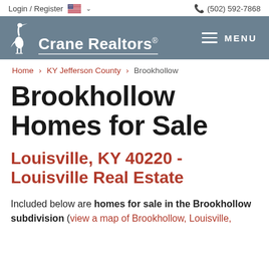Login / Register  (502) 592-7868
[Figure (logo): Crane Realtors logo with heron bird icon and text 'Crane Realtors®' on a slate blue/grey navigation bar with MENU button]
Home > KY Jefferson County > Brookhollow
Brookhollow Homes for Sale
Louisville, KY 40220 - Louisville Real Estate
Included below are homes for sale in the Brookhollow subdivision (view a map of Brookhollow, Louisville,